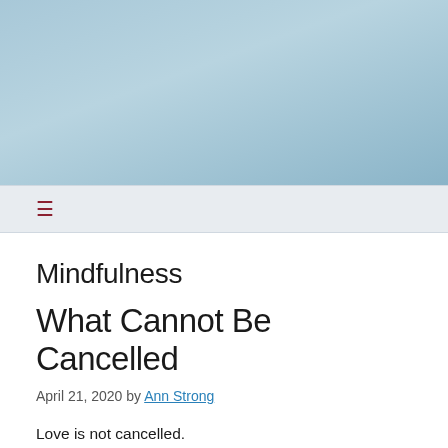[Figure (photo): Light blue/grey gradient background image filling the top portion of the page, suggesting a calm sky or soft abstract background.]
≡
Mindfulness
What Cannot Be Cancelled
April 21, 2020 by Ann Strong
Love is not cancelled.